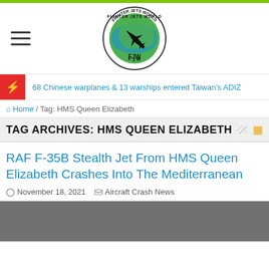[Figure (logo): Fighter Jets World circular logo with a fighter jet silhouette over a globe, text 'FIGHTER JETS WORLD' and 'FJW' around the circle]
68 Chinese warplanes & 13 warships entered Taiwan's ADIZ
Home / Tag: HMS Queen Elizabeth
TAG ARCHIVES: HMS QUEEN ELIZABETH
RAF F-35B Stealth Jet From HMS Queen Elizabeth Crashes Into The Mediterranean
November 18, 2021   Aircraft Crash News